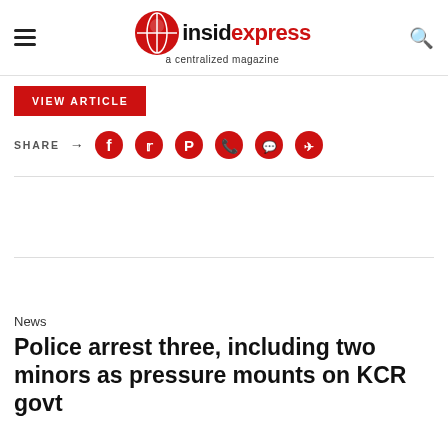insidexpress a centralized magazine
VIEW ARTICLE
SHARE
News
Police arrest three, including two minors as pressure mounts on KCR govt